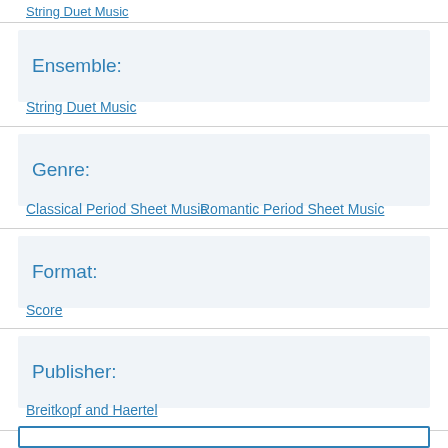String Duet Music (top link, partially cut off)
Ensemble:
String Duet Music
Genre:
Classical Period Sheet Music
Romantic Period Sheet Music
Format:
Score
Publisher:
Breitkopf and Haertel
[Figure (other): Bottom blue-bordered box, partially visible]